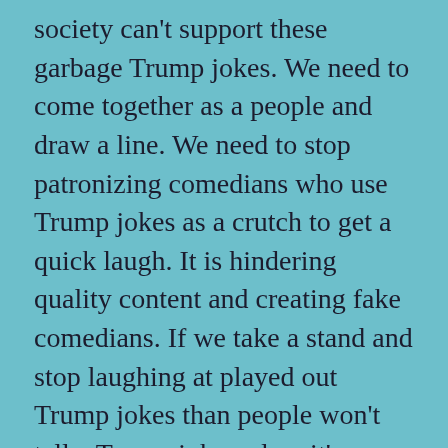society can't support these garbage Trump jokes. We need to come together as a people and draw a line. We need to stop patronizing comedians who use Trump jokes as a crutch to get a quick laugh. It is hindering quality content and creating fake comedians. If we take a stand and stop laughing at played out Trump jokes than people won't tell a Trump joke unless it's actually good and than we could start enjoying them once more instead of just putting up with them. Let's save our laughs for things that are actually funny.
Share this: